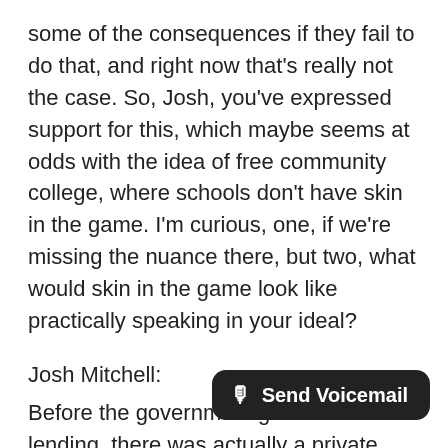some of the consequences if they fail to do that, and right now that's really not the case. So, Josh, you've expressed support for this, which maybe seems at odds with the idea of free community college, where schools don't have skin in the game. I'm curious, one, if we're missing the nuance there, but two, what would skin in the game look like practically speaking in your ideal?
Josh Mitchell:
Before the government got into student lending, there was actually a private sector funded national student loan program called USA Funds, that was back in 1960. And it involved schools putting money into a pot of money that was an insurance fund and default rates were pretty low. And one of the reasons why default rates because they didn't give loans to freshmen.